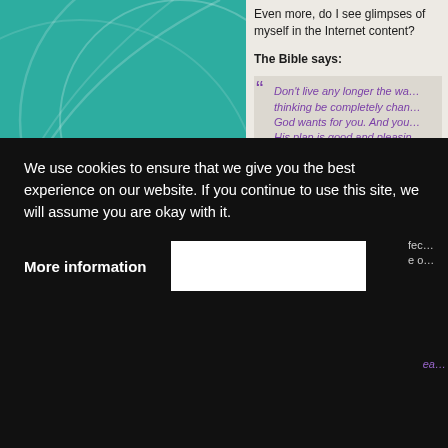Even more, do I see glimpses of myself in the Internet content?
The Bible says:
Don't live any longer the way you used to live. Let your thinking be completely changed. Then you will be able to test what God wants for you. And you will agree that what he wants is right. His plan is good and pleasing and perfect.
Put another way:
Don't copy the behavior and customs of this world, but let God transform you into a new person by changing the way you think. Then you will know what God wants you to do, and you will know how good and pleasing and perfect his will really is. (Romans 12:2)
We use cookies to ensure that we give you the best experience on our website. If you continue to use this site, we will assume you are okay with it.
More information
He can change the way we think. He can u…